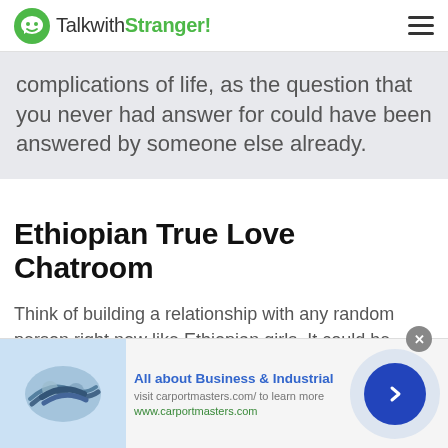TalkwithStranger!
complications of life, as the question that you never had answer for could have been answered by someone else already.
Ethiopian True Love Chatroom
Think of building a relationship with any random person right now like Ethiopian girls. It could be anyone from any
[Figure (other): Advertisement banner: handshake image with text 'All about Business & Industrial', 'visit carportmasters.com/ to learn more', 'www.carportmasters.com', and a blue arrow button]